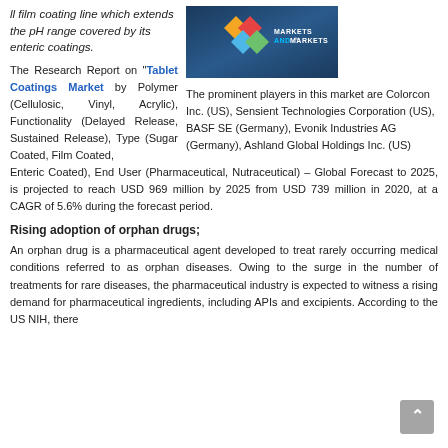ll film coating line which extends the pH range covered by its enteric coatings.
[Figure (logo): MarketsandMarkets logo on dark blue background with colored diamond shapes]
The Research Report on "Tablet Coatings Market by Polymer (Cellulosic, Vinyl, Acrylic), Functionality (Delayed Release, Sustained Release), Type (Sugar Coated, Film Coated, Enteric Coated), End User (Pharmaceutical, Nutraceutical) – Global Forecast to 2025, is projected to reach USD 969 million by 2025 from USD 739 million in 2020, at a CAGR of 5.6% during the forecast period.
The prominent players in this market are Colorcon Inc. (US), Sensient Technologies Corporation (US), BASF SE (Germany), Evonik Industries AG (Germany), Ashland Global Holdings Inc. (US)
Rising adoption of orphan drugs;
An orphan drug is a pharmaceutical agent developed to treat rarely occurring medical conditions referred to as orphan diseases. Owing to the surge in the number of treatments for rare diseases, the pharmaceutical industry is expected to witness a rising demand for pharmaceutical ingredients, including APIs and excipients. According to the US NIH, there